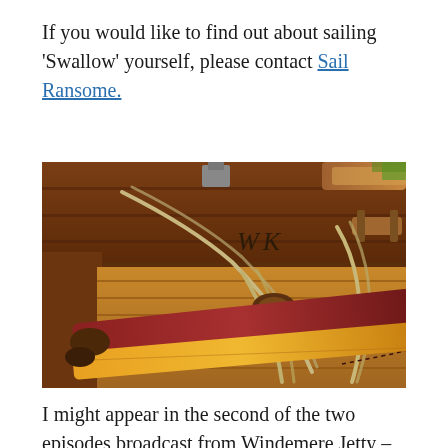If you would like to find out about sailing 'Swallow' yourself, please contact Sail Ransome.
[Figure (photo): Close-up photograph of the interior of a wooden sailing dinghy named 'Swallow', showing wooden planking with initials 'WK' carved or marked on it, ropes, rigging, and oar blades (one red/brown and one yellow/orange) tied together with hemp rope.]
I might appear in the second of the two episodes broadcast from Windemere Jetty –